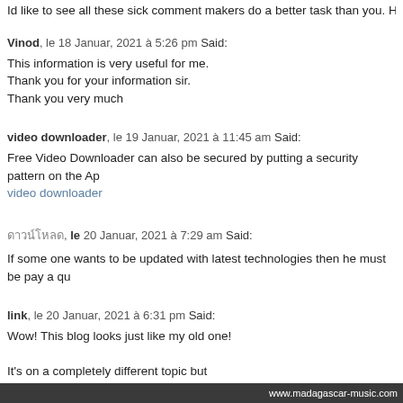Id like to see all these sick comment makers do a better task than you. Hold it up 🙂
Vinod, le 18 Januar, 2021 à 5:26 pm Said:
This information is very useful for me.
Thank you for your information sir.
Thank you very much
video downloader, le 19 Januar, 2021 à 11:45 am Said:
Free Video Downloader can also be secured by putting a security pattern on the Ap
video downloader
ดาวน์โหลด, le 20 Januar, 2021 à 7:29 am Said:
If some one wants to be updated with latest technologies then he must be pay a qu
link, le 20 Januar, 2021 à 6:31 pm Said:
Wow! This blog looks just like my old one!
It's on a completely different topic but
it has pretty much the same layout and design. Excellent choice of colors!
www.madagascar-music.com